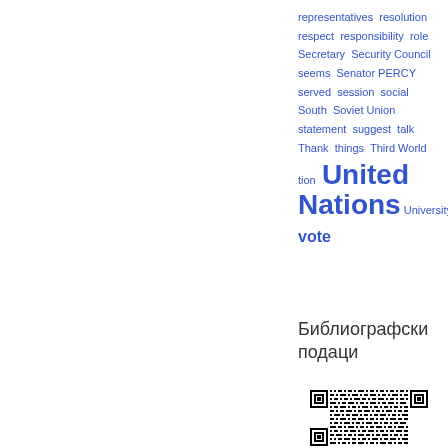[Figure (infographic): Tag cloud of words related to United Nations topics, displayed in blue text with varying sizes. Words include: representatives, resolution, respect, responsibility, role, Secretary, Security Council, seems, Senator PERCY, served, session, social, South, Soviet Union, statement, suggest, talk, Thank, things, Third World, tion, United Nations (large), University, vote.]
Библиографски подаци
[Figure (other): QR code for bibliographic data]